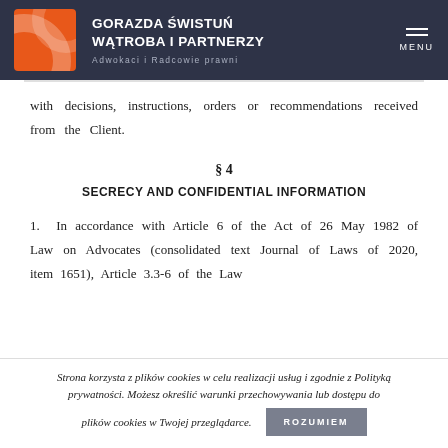GORAZDA ŚWISTUŃ WĄTROBA I PARTNERZY – Adwokaci i Radcowie prawni
with decisions, instructions, orders or recommendations received from the Client.
§ 4
SECRECY AND CONFIDENTIAL INFORMATION
1. In accordance with Article 6 of the Act of 26 May 1982 of Law on Advocates (consolidated text Journal of Laws of 2020, item 1651), Article 3.3-6 of the Law
Strona korzysta z plików cookies w celu realizacji usług i zgodnie z Polityką prywatności. Możesz określić warunki przechowywania lub dostępu do plików cookies w Twojej przeglądarce.